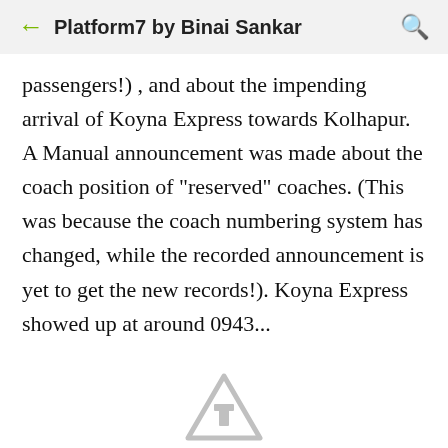Platform7 by Binai Sankar
passengers!) , and about the impending arrival of Koyna Express towards Kolhapur. A Manual announcement was made about the coach position of "reserved" coaches. (This was because the coach numbering system has changed, while the recorded announcement is yet to get the new records!). Koyna Express showed up at around 0943...
[Figure (illustration): A triangular upload/share icon at the bottom center of the screen, grayed out.]